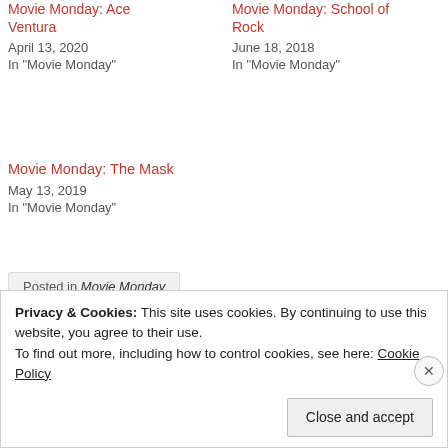Movie Monday: Ace Ventura
April 13, 2020
In "Movie Monday"
Movie Monday: School of Rock
June 18, 2018
In "Movie Monday"
Movie Monday: The Mask
May 13, 2019
In "Movie Monday"
Posted in Movie Monday
Tagged Drama, Ed Harris, Jim Carrey, Laura Linney, Movie Monday, Movie Reviews, Movies, Paramount Pictures, Reality TV, Reviews, Taken to an extreme, The Truman Show
Privacy & Cookies: This site uses cookies. By continuing to use this website, you agree to their use.
To find out more, including how to control cookies, see here: Cookie Policy